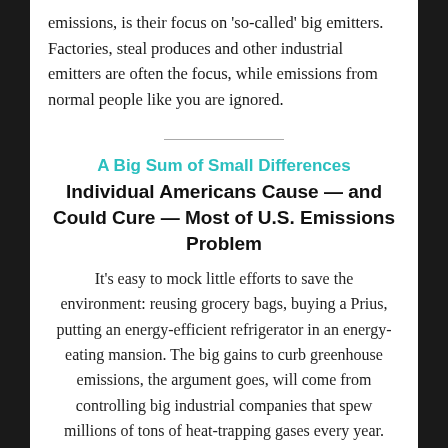emissions, is their focus on 'so-called' big emitters. Factories, steal produces and other industrial emitters are often the focus, while emissions from normal people like you are ignored.
A Big Sum of Small Differences
Individual Americans Cause — and Could Cure — Most of U.S. Emissions Problem
It's easy to mock little efforts to save the environment: reusing grocery bags, buying a Prius, putting an energy-efficient refrigerator in an energy-eating mansion. The big gains to curb greenhouse emissions, the argument goes, will come from controlling big industrial companies that spew millions of tons of heat-trapping gases every year.